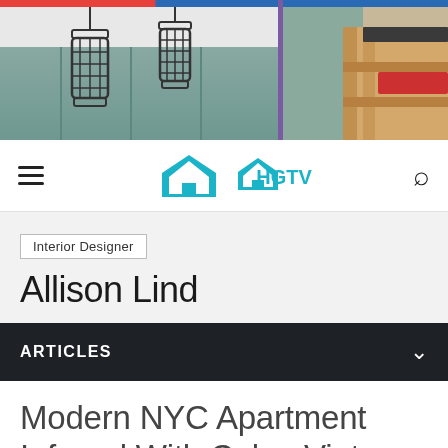[Figure (photo): HGTV website header banner showing pendant cage lanterns in a kitchen with sage green cabinetry on the left, and construction/renovation imagery on the right, separated by a purple vertical bar. Red and blue stripes at the top.]
HGTV navigation bar with hamburger menu icon, HGTV logo, and search icon
Interior Designer
Allison Lind
ARTICLES
Modern NYC Apartment Infused With Color, Vintage Collectibles